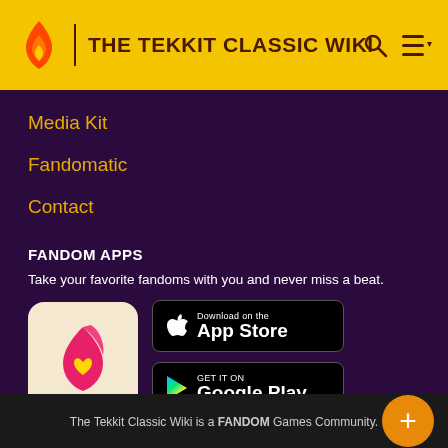THE TEKKIT CLASSIC WIKI
Media Kit
Fandomatic
Contact
FANDOM APPS
Take your favorite fandoms with you and never miss a beat.
[Figure (logo): Fandom app icon — pink flame shape with yellow heart on beige background]
[Figure (screenshot): Download on the App Store button (black, rounded rectangle)]
[Figure (screenshot): Get it on Google Play button (black, rounded rectangle)]
The Tekkit Classic Wiki is a FANDOM Games Community.